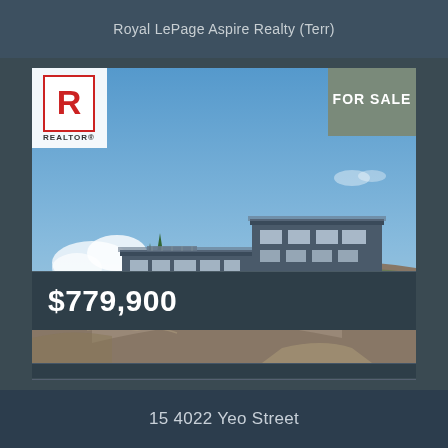Royal LePage Aspire Realty (Terr)
[Figure (photo): Exterior photo of a modern two-storey home built on a rocky hillside with large windows and grey siding, surrounded by conifer trees and greenery under a blue sky. A 'FOR SALE' badge appears in the top-right corner and a REALTOR logo in the top-left corner.]
$779,900
15 4022 Yeo Street